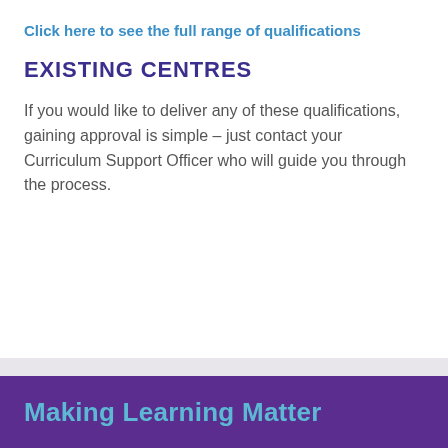Click here to see the full range of qualifications
EXISTING CENTRES
If you would like to deliver any of these qualifications, gaining approval is simple – just contact your Curriculum Support Officer who will guide you through the process.
Making Learning Matter